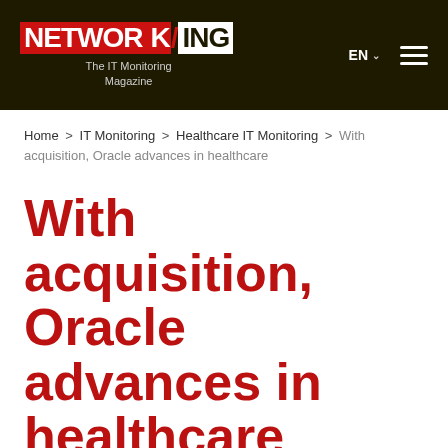NETWORKING — The IT Monitoring Magazine | EN | navigation menu
Home > IT Monitoring > Healthcare IT Monitoring > With acquisition, Oracle advances in healthcare
With acquisition, Oracle advances in healthcare
Sheila Zabeu | HEALTHCARE IT MONITORING | June 07, 2022